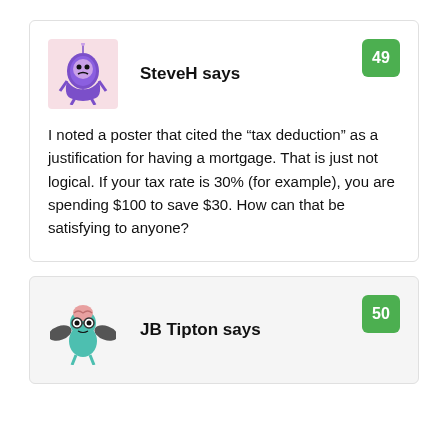[Figure (illustration): Avatar of SteveH: cartoon purple creature on pink background]
SteveH says
49
I noted a poster that cited the “tax deduction” as a justification for having a mortgage. That is just not logical. If your tax rate is 30% (for example), you are spending $100 to save $30. How can that be satisfying to anyone?
[Figure (illustration): Avatar of JB Tipton: cartoon teal creature with wings on transparent background]
JB Tipton says
50